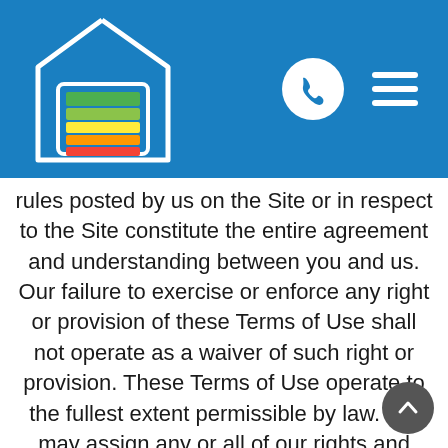[Figure (logo): Energy Performance Certificate house logo with colored rating bars in white outline house shape on blue background]
rules posted by us on the Site or in respect to the Site constitute the entire agreement and understanding between you and us. Our failure to exercise or enforce any right or provision of these Terms of Use shall not operate as a waiver of such right or provision. These Terms of Use operate to the fullest extent permissible by law. We may assign any or all of our rights and obligations to others at any time. We shall not be responsible or liable for any loss, damage, delay, or failure to act caused by any cause beyond our reasonable control. If any provision or part of a provision of these Terms of Use is determined to be unlawful, void, or unenforceable